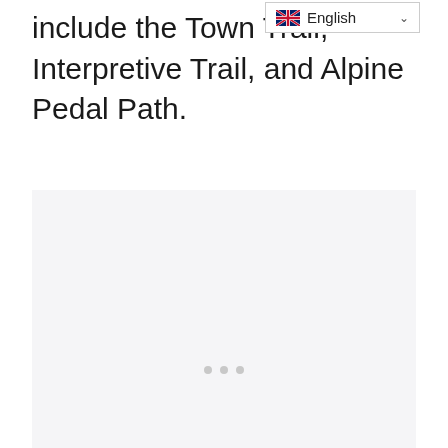include the Town Trail, Interpretive Trail, and Alpine Pedal Path.
[Figure (other): Loading placeholder with three dots, light gray background, indicating an image or media element that has not yet loaded.]